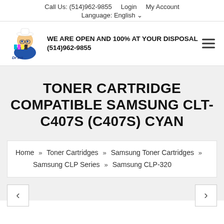Call Us: (514)962-9855   Login   My Account
Language: English ∨
[Figure (logo): Dr Ink logo: cartoon character with glasses and ink cartridges]
WE ARE OPEN AND 100% AT YOUR DISPOSAL (514)962-9855
TONER CARTRIDGE COMPATIBLE SAMSUNG CLT-C407S (C407S) CYAN
Home » Toner Cartridges » Samsung Toner Cartridges » Samsung CLP Series » Samsung CLP-320